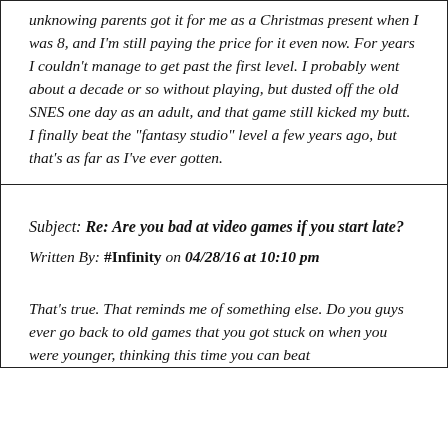unknowing parents got it for me as a Christmas present when I was 8, and I'm still paying the price for it even now. For years I couldn't manage to get past the first level. I probably went about a decade or so without playing, but dusted off the old SNES one day as an adult, and that game still kicked my butt. I finally beat the "fantasy studio" level a few years ago, but that's as far as I've ever gotten.
Subject: Re: Are you bad at video games if you start late?
Written By: #Infinity on 04/28/16 at 10:10 pm
That's true. That reminds me of something else. Do you guys ever go back to old games that you got stuck on when you were younger, thinking this time you can beat